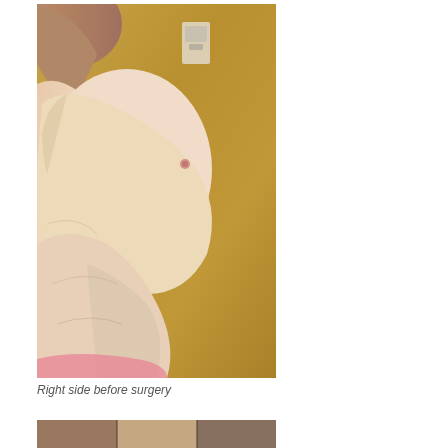[Figure (photo): Clinical photograph showing right lateral view of a patient's torso before breast reduction surgery. The image shows significant breast ptosis and abdominal adiposity against a yellow wall background.]
Right side before surgery
[Figure (photo): Partial view of another clinical photograph visible at the bottom of the page, cropped.]